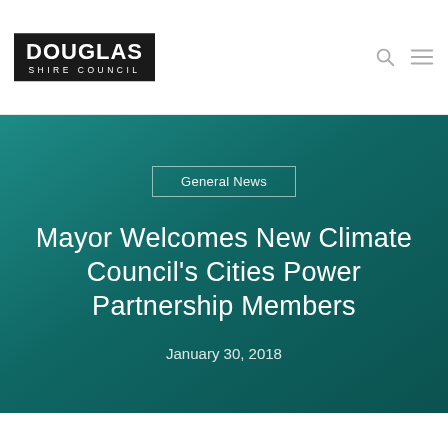Douglas Shire Council
General News
Mayor Welcomes New Climate Council's Cities Power Partnership Members
January 30, 2018